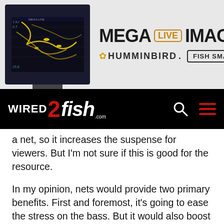[Figure (screenshot): Advertisement banner for Humminbird MEGA Live Imaging featuring a dark sonar/fishfinder screen on the left and bold text 'MEGA LIVE IMAGING' with Humminbird logo and 'FISH SMARTER' badge on the right, on a light grey background.]
[Figure (logo): Wired2Fish.com website navigation bar on black background with the site logo (WIRED in white, 2 in red, fish in white italic) on the left, and search and hamburger menu icons on the right.]
a net, so it increases the suspense for viewers. But I'm not sure if this is good for the resource.
In my opinion, nets would provide two primary benefits. First and foremost, it's going to ease the stress on the bass. But it would also boost another product category in the fishing industry as manufacturers would begin designing and making more nets. Improvements to materials including the net handle and net material itself could be significant, benefitting both the fish and the industry.
They could also be another way for the anglers and trail…